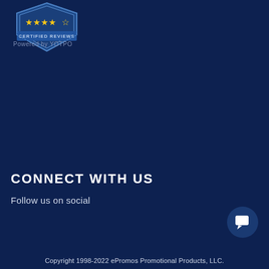[Figure (logo): Blue shield/badge with 4.5 gold stars and text 'CERTIFIED REVIEWS' on a ribbon banner]
Powered by YOTPO
CONNECT WITH US
Follow us on social
[Figure (illustration): Round dark blue chat bubble icon with white speech bubble symbol]
Copyright 1998-2022 ePromos Promotional Products, LLC.